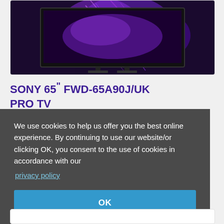[Figure (photo): Sony 65-inch BRAVIA professional TV displayed on a dark background with colorful purple and blue lighting effects on screen, shown inside a white card]
SONY 65" FWD-65A90J/UK PRO TV
We use cookies to help us offer you the best online experience. By continuing to use our website/or clicking OK, you consent to the use of cookies in accordance with our privacy policy
OK